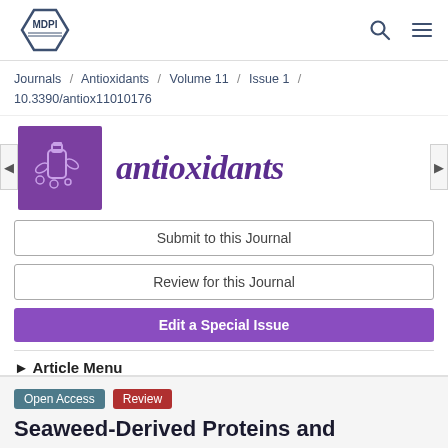MDPI
Journals / Antioxidants / Volume 11 / Issue 1 / 10.3390/antiox11010176
[Figure (logo): Antioxidants journal logo — purple square with bottle and leaves icon, italic purple text 'antioxidants']
Submit to this Journal
Review for this Journal
Edit a Special Issue
► Article Menu
Open Access   Review
Seaweed-Derived Proteins and